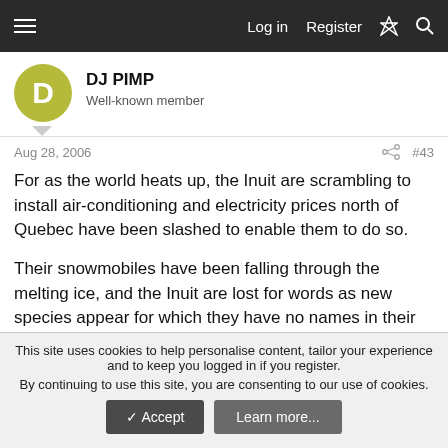Log in  Register
DJ PIMP
Well-known member
Aug 28, 2006  #43
For as the world heats up, the Inuit are scrambling to install air-conditioning and electricity prices north of Quebec have been slashed to enable them to do so.
Their snowmobiles have been falling through the melting ice, and the Inuit are lost for words as new species appear for which they have no names in their language.
And they have had to dig wells in some places as they can no
This site uses cookies to help personalise content, tailor your experience and to keep you logged in if you register.
By continuing to use this site, you are consenting to our use of cookies.